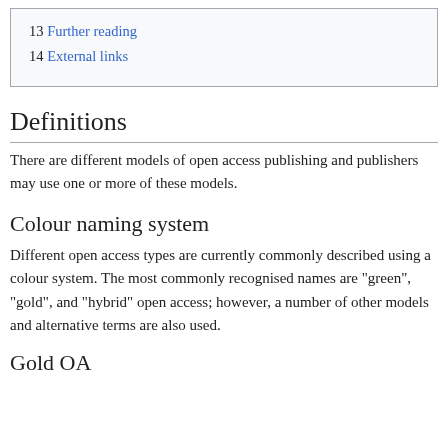13 Further reading
14 External links
Definitions
There are different models of open access publishing and publishers may use one or more of these models.
Colour naming system
Different open access types are currently commonly described using a colour system. The most commonly recognised names are "green", "gold", and "hybrid" open access; however, a number of other models and alternative terms are also used.
Gold OA